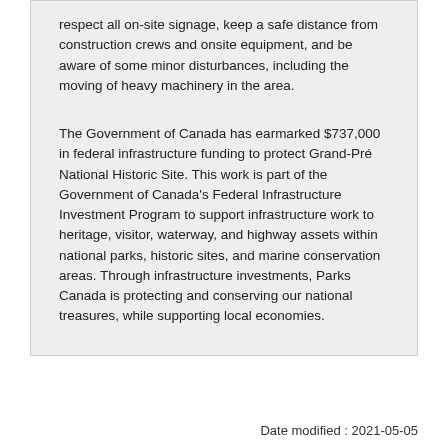respect all on-site signage, keep a safe distance from construction crews and onsite equipment, and be aware of some minor disturbances, including the moving of heavy machinery in the area.
The Government of Canada has earmarked $737,000 in federal infrastructure funding to protect Grand-Pré National Historic Site. This work is part of the Government of Canada's Federal Infrastructure Investment Program to support infrastructure work to heritage, visitor, waterway, and highway assets within national parks, historic sites, and marine conservation areas. Through infrastructure investments, Parks Canada is protecting and conserving our national treasures, while supporting local economies.
Date modified : 2021-05-05